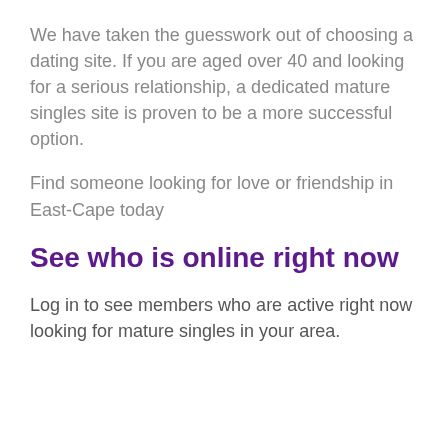We have taken the guesswork out of choosing a dating site. If you are aged over 40 and looking for a serious relationship, a dedicated mature singles site is proven to be a more successful option.
Find someone looking for love or friendship in East-Cape today
See who is online right now
Log in to see members who are active right now looking for mature singles in your area.